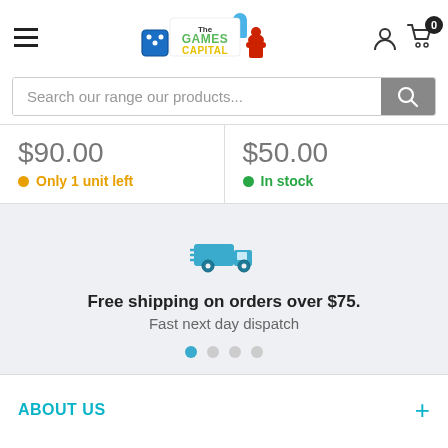[Figure (logo): The Games Capital logo with dice and meeple graphic]
Search our range our products...
$90.00
Only 1 unit left
$50.00
In stock
[Figure (illustration): Blue delivery truck icon]
Free shipping on orders over $75.
Fast next day dispatch
ABOUT US